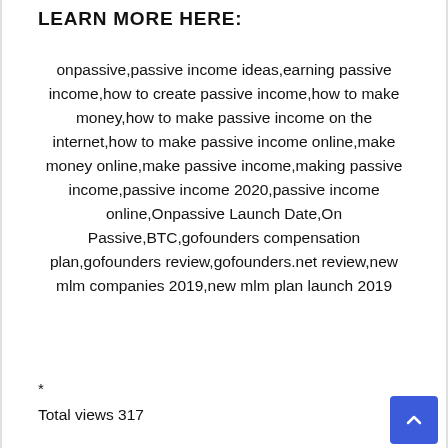LEARN MORE HERE:
onpassive,passive income ideas,earning passive income,how to create passive income,how to make money,how to make passive income on the internet,how to make passive income online,make money online,make passive income,making passive income,passive income 2020,passive income online,Onpassive Launch Date,On Passive,BTC,gofounders compensation plan,gofounders review,gofounders.net review,new mlm companies 2019,new mlm plan launch 2019
*
Total views 317